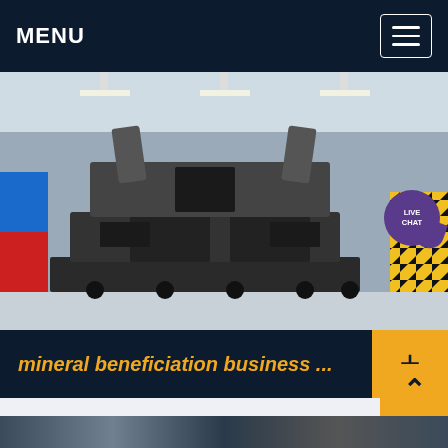MENU
[Figure (photo): Industrial mineral processing/beneficiation machine in a factory setting. Large heavy machinery with mechanical arms, on a factory floor. Colored items visible on the left, yellow-black hazard barrier on the right.]
mineral beneficiation business ...
A RAPID RISE IN WATER LEVEL IN THE CRATER LAKE AT MOUNT . project much as one would plan a real AND MINERAL BENEFICIATION OF PLATINUM can be purchased from the MAC Business Offic.